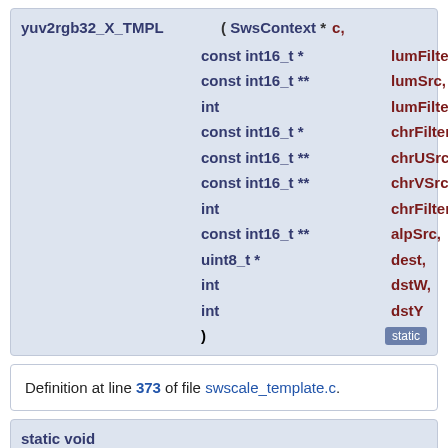yuv2rgb32_X_TMPL ( SwsContext * c, const int16_t * lumFilter, const int16_t ** lumSrc, int lumFilterSize, const int16_t * chrFilter, const int16_t ** chrUSrc, const int16_t ** chrVSrc, int chrFilterSize, const int16_t ** alpSrc, uint8_t * dest, int dstW, int dstY ) static
Definition at line 373 of file swscale_template.c.
static void yuv2bgr32_X_TMPL ( SwsContext * c,